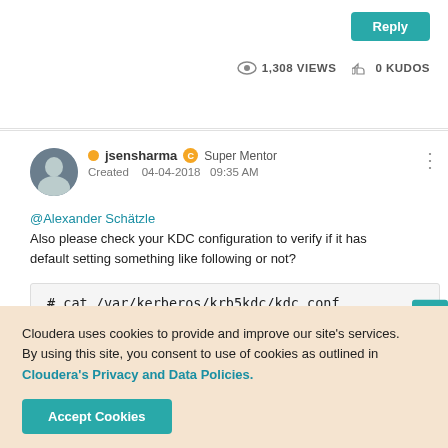Reply
1,308 VIEWS   0 KUDOS
jsensharma   Super Mentor
Created   04-04-2018   09:35 AM
@Alexander Schätzle
Also please check your KDC configuration to verify if it has default setting something like following or not?
# cat /var/kerberos/krb5kdc/kdc.conf
Feedback
Cloudera uses cookies to provide and improve our site's services. By using this site, you consent to use of cookies as outlined in Cloudera's Privacy and Data Policies.
Accept Cookies